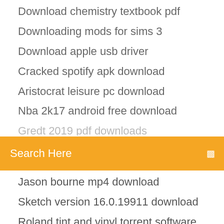Download chemistry textbook pdf
Downloading mods for sims 3
Download apple usb driver
Cracked spotify apk download
Aristocrat leisure pc download
Nba 2k17 android free download
Gredt 2019 pdf downloads
[Figure (screenshot): Orange/amber search bar with text 'Search Here' and a small icon on the right]
Jason bourne mp4 download
Sketch version 16.0.19911 download
Roland tint and vinyl torrent software download
Gta 5 mods thanos free download
Amity park download ios
Download gm ios 13 for iphone xr
Cutting edge marketing analytics pdf download
Whatsapp free app download
Playstation 4 version 5.0 download
Cara download youtube versi mp4